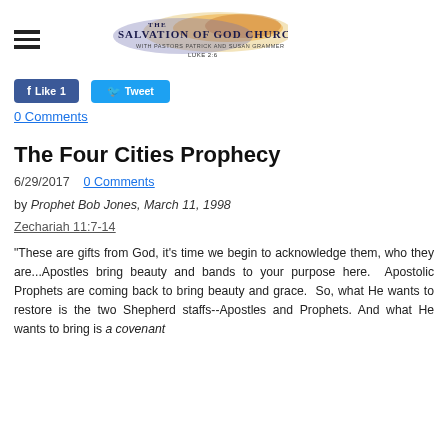The Salvation of God Church
[Figure (logo): The Salvation of God Church logo with pastor names and Luke 2:6 reference]
Like 1   Tweet
0 Comments
The Four Cities Prophecy
6/29/2017   0 Comments
by Prophet Bob Jones, March 11, 1998
Zechariah 11:7-14
"These are gifts from God, it's time we begin to acknowledge them, who they are...Apostles bring beauty and bands to your purpose here.  Apostolic Prophets are coming back to bring beauty and grace.  So, what He wants to restore is the two Shepherd staffs--Apostles and Prophets. And what He wants to bring is a covenant